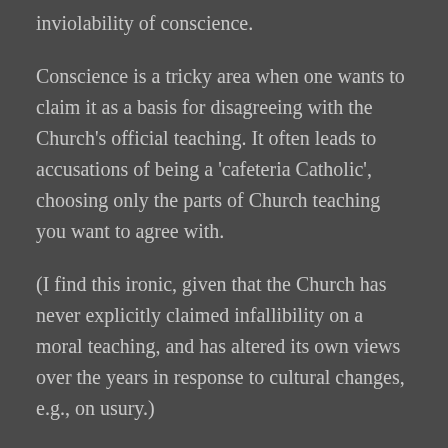inviolability of conscience.
Conscience is a tricky area when one wants to claim it as a basis for disagreeing with the Church's official teaching. It often leads to accusations of being a 'cafeteria Catholic', choosing only the parts of Church teaching you want to agree with.
(I find this ironic, given that the Church has never explicitly claimed infallibility on a moral teaching, and has altered its own views over the years in response to cultural changes, e.g., on usury.)
The Second Vatican Council declares we are bound to follow our conscience faithfully; that one cannot be forced to act in a manner contrary to their conscience. But a conscience must be properly